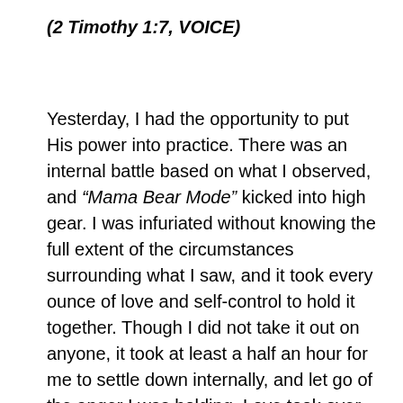(2 Timothy 1:7, VOICE)
Yesterday, I had the opportunity to put His power into practice. There was an internal battle based on what I observed, and “Mama Bear Mode” kicked into high gear. I was infuriated without knowing the full extent of the circumstances surrounding what I saw, and it took every ounce of love and self-control to hold it together. Though I did not take it out on anyone, it took at least a half an hour for me to settle down internally, and let go of the anger I was holding. Love took over, and lifted me up so that I could move forward and focus